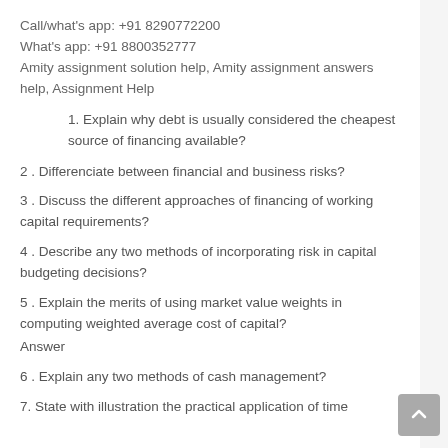Call/what’s app: +91 8290772200
What’s app: +91 8800352777
Amity assignment solution help, Amity assignment answers help, Assignment Help
1. Explain why debt is usually considered the cheapest source of financing available?
2 . Differenciate between financial and business risks?
3 . Discuss the different approaches of financing of working capital requirements?
4 . Describe any two methods of incorporating risk in capital budgeting decisions?
5 . Explain the merits of using market value weights in computing weighted average cost of capital?
Answer
6 . Explain any two methods of cash management?
7. State with illustration the practical application of time